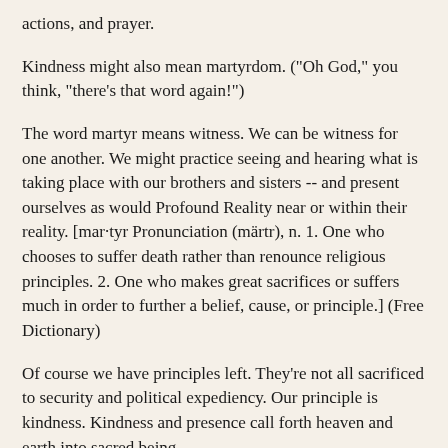actions, and prayer.
Kindness might also mean martyrdom. ("Oh God," you think, "there's that word again!")
The word martyr means witness. We can be witness for one another. We might practice seeing and hearing what is taking place with our brothers and sisters -- and present ourselves as would Profound Reality near or within their reality. [mar·tyr Pronunciation (märtr), n. 1. One who chooses to suffer death rather than renounce religious principles. 2. One who makes great sacrifices or suffers much in order to further a belief, cause, or principle.] (Free Dictionary)
Of course we have principles left. They're not all sacrificed to security and political expediency. Our principle is kindness. Kindness and presence call forth heaven and earth into sacred being.
Kind is natural.
The Free Dictionary elaborates: kind 1 Pronunciation (knd)